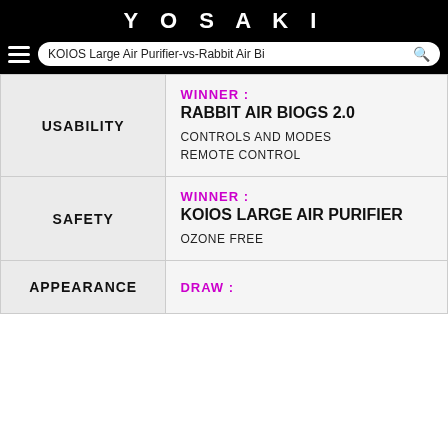YOSAKI
KOIOS Large Air Purifier-vs-Rabbit Air Bi
| Category | Result |
| --- | --- |
| USABILITY | WINNER: RABBIT AIR BIOGS 2.0
CONTROLS AND MODES
REMOTE CONTROL |
| SAFETY | WINNER: KOIOS LARGE AIR PURIFIER
OZONE FREE |
| APPEARANCE | DRAW: |